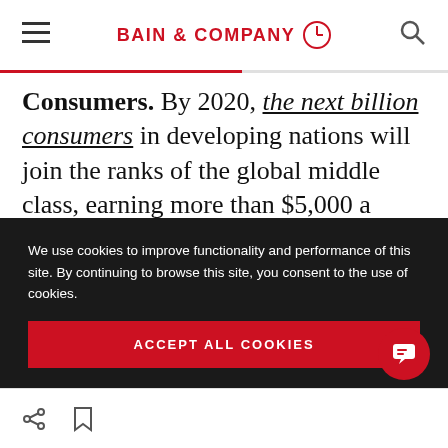BAIN & COMPANY
Consumers. By 2020, the next billion consumers in developing nations will join the ranks of the global middle class, earning more than $5,000 a year. Their purchasing power and preferences will be different from those of middle-class consumers in developed nations, but taken as a
We use cookies to improve functionality and performance of this site. By continuing to browse this site, you consent to the use of cookies.
ACCEPT ALL COOKIES